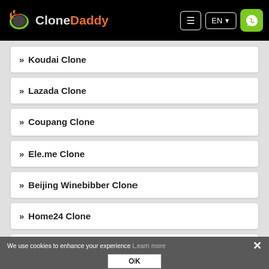Clone Daddy
Koudai Clone
Lazada Clone
Coupang Clone
Ele.me Clone
Beijing Winebibber Clone
Home24 Clone
Zando Clone
Dafiti Clone
We use cookies to enhance your experience Learn more OK